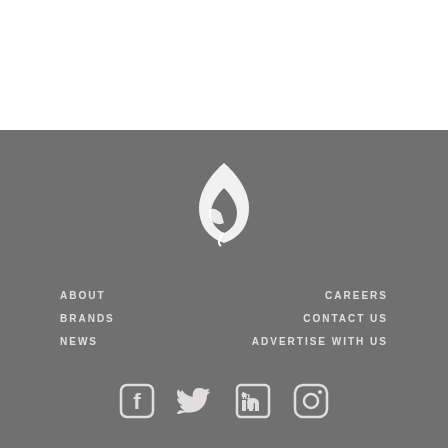[Figure (logo): White leaf/flame logo icon on gray background]
ABOUT
BRANDS
NEWS
CAREERS
CONTACT US
ADVERTISE WITH US
[Figure (illustration): Social media icons: Facebook, Twitter, LinkedIn, Instagram]